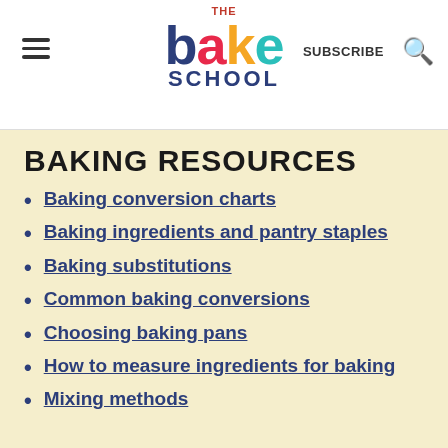The Bake School — SUBSCRIBE
BAKING RESOURCES
Baking conversion charts
Baking ingredients and pantry staples
Baking substitutions
Common baking conversions
Choosing baking pans
How to measure ingredients for baking
Mixing methods